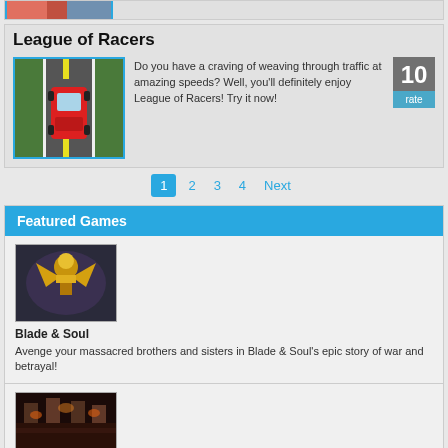[Figure (screenshot): Top strip showing partial image of a game or person, clipped at top]
League of Racers
[Figure (screenshot): Top-down view of a red car on a road with yellow lane markings]
Do you have a craving of weaving through traffic at amazing speeds? Well, you'll definitely enjoy League of Racers! Try it now!
10 rate
1
2
3
4
Next
Featured Games
[Figure (screenshot): Fantasy warrior character with golden armor and wings - Blade & Soul game art]
Blade & Soul
Avenge your massacred brothers and sisters in Blade & Soul's epic story of war and betrayal!
[Figure (screenshot): Partially visible game screenshot at bottom of page]